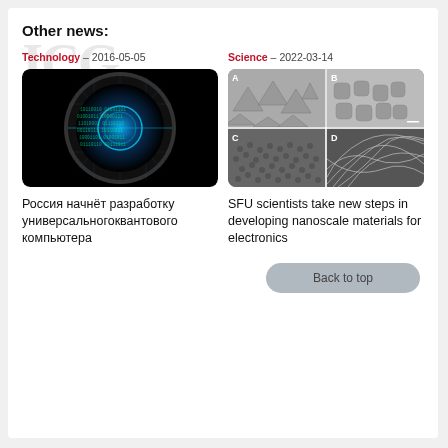Other news:
Technology – 2016-05-05
Science – 2022-03-14
[Figure (photo): Camera lens with digital binary code overlay, glowing blue on black background]
[Figure (photo): Four-panel electron microscope image (A, B, C, D) of nanoscale materials]
Россия начнёт разработку универсальногоквантового компьютера
SFU scientists take new steps in developing nanoscale materials for electronics
Back to top